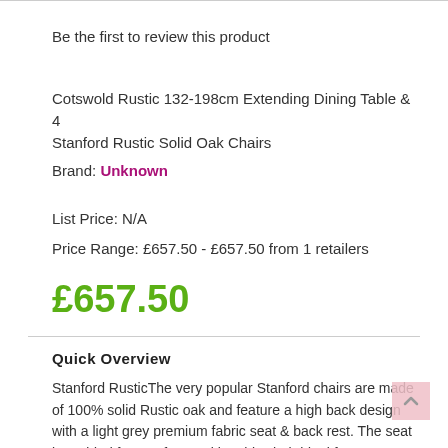Be the first to review this product
Cotswold Rustic 132-198cm Extending Dining Table & 4 Stanford Rustic Solid Oak Chairs
Brand: Unknown
List Price: N/A
Price Range: £657.50 - £657.50 from 1 retailers
£657.50
Quick Overview
Stanford RusticThe very popular Stanford chairs are made of 100% solid Rustic oak and feature a high back design with a light grey premium fabric seat & back rest. The seat is padded for comfort, making this chair ideal for entertaining guests, significantly enhancing your dining experience. Each chair...